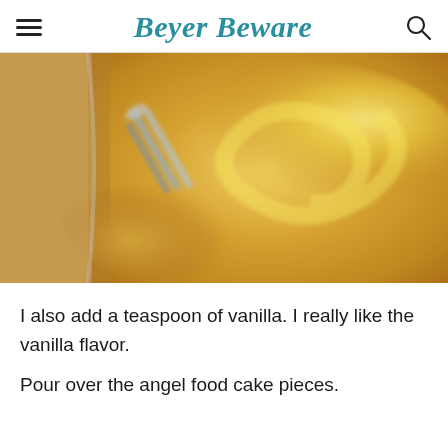Beyer Beware
[Figure (photo): Close-up photo of yellow custard or pudding batter being mixed with a whisk/electric mixer in a glass bowl, showing swirling creamy yellow mixture]
I also add a teaspoon of vanilla. I really like the vanilla flavor.
Pour over the angel food cake pieces.